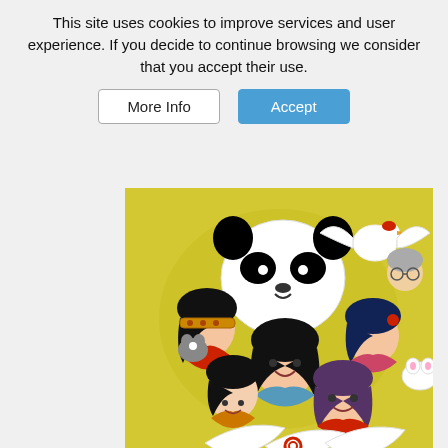This site uses cookies to improve services and user experience. If you decide to continue browsing we consider that you accept their use.
[Figure (illustration): Anime-style illustration of multiple manga characters (girls and animals) grouped together against a yellow background with decorative elements. Characters include girls with black and purple hair in various colorful outfits, a large panda, a white bird/crane, and small animal companions.]